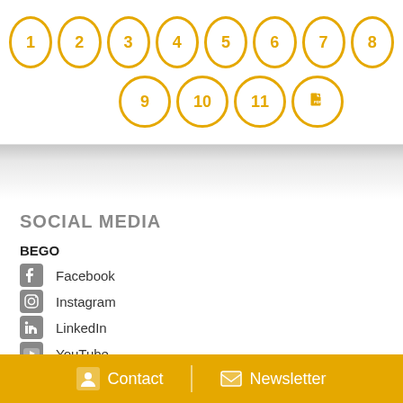[Figure (infographic): Navigation page indicator circles numbered 1-11 plus a PDF icon, arranged in two rows, with gold outlines on white background]
SOCIAL MEDIA
BEGO
Facebook
Instagram
LinkedIn
YouTube
Xing
BEGO Implant Systems
Facebook
Contact | Newsletter